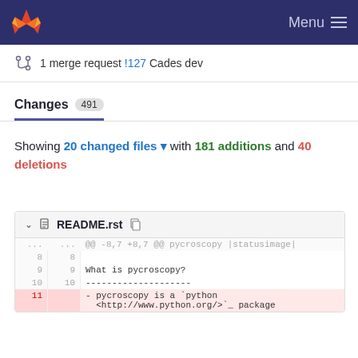GitLab — Menu
1 merge request !127 Cades dev
Changes 491
Showing 20 changed files with 181 additions and 40 deletions
README.rst
| old | new | code |
| --- | --- | --- |
| ... | ... | @@ -8,7 +8,7 @@ pycroscopy |statusimage| |
| 8 | 8 |  |
| 9 | 9 | What is pycroscopy? |
| 10 | 10 | -------------------- |
| 11 |  | - pycroscopy is a `python <http://www.python.org/>`_ package |